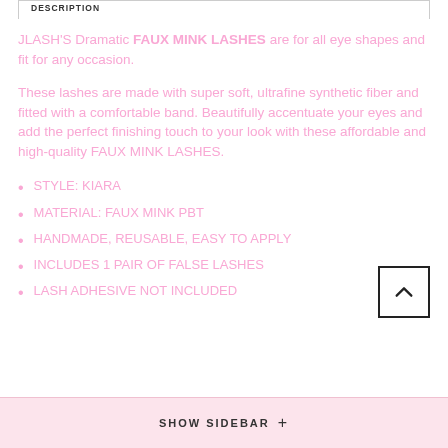DESCRIPTION
JLASH'S Dramatic FAUX MINK LASHES are for all eye shapes and fit for any occasion.
These lashes are made with super soft, ultrafine synthetic fiber and fitted with a comfortable band. Beautifully accentuate your eyes and add the perfect finishing touch to your look with these affordable and high-quality FAUX MINK LASHES.
STYLE: KIARA
MATERIAL: FAUX MINK PBT
HANDMADE, REUSABLE, EASY TO APPLY
INCLUDES 1 PAIR OF FALSE LASHES
LASH ADHESIVE NOT INCLUDED
SHOW SIDEBAR +